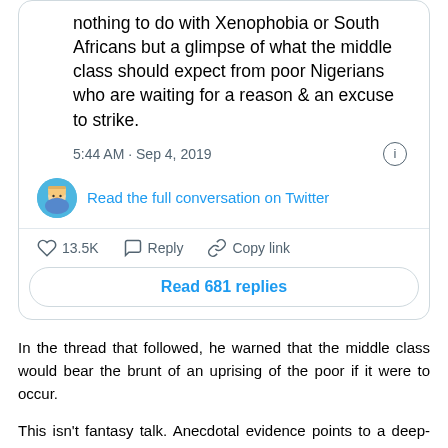[Figure (screenshot): Twitter/X tweet card showing tweet text, timestamp, avatar, read full conversation link, like/reply/copy link actions, and read 681 replies button]
In the thread that followed, he warned that the middle class would bear the brunt of an uprising of the poor if it were to occur.
This isn't fantasy talk. Anecdotal evidence points to a deep-seated hatred of many poor people for the relatively well-off. This may be particularly pronounced in the cities, where the haves and have-nots